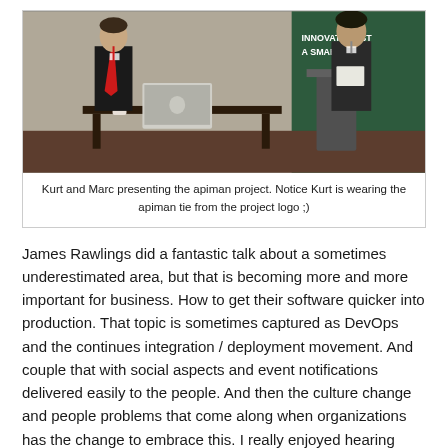[Figure (photo): Two men presenting at a conference. On the left, a man in a black shirt and red tie stands near a laptop on a desk. On the right, another man holds papers and stands at a podium with a green background banner reading 'Innovate Faster'.]
Kurt and Marc presenting the apiman project. Notice Kurt is wearing the apiman tie from the project logo ;)
James Rawlings did a fantastic talk about a sometimes underestimated area, but that is becoming more and more important for business. How to get their software quicker into production. That topic is sometimes captured as DevOps and the continues integration / deployment movement. And couple that with social aspects and event notifications delivered easily to the people. And then the culture change and people problems that come along when organizations has the change to embrace this. I really enjoyed hearing about James war stories and demonstrating the CI/CD pipeline that fabric8 offers a single one click installer.